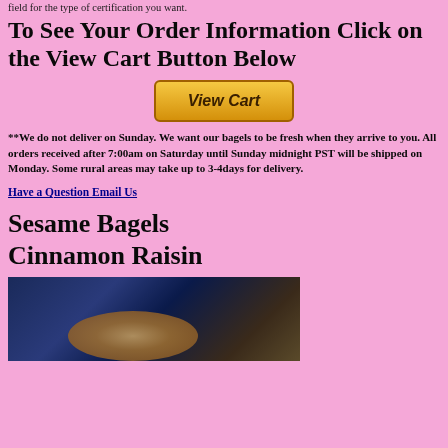field for the type of certification you want.
To See Your Order Information Click on the View Cart Button Below
[Figure (other): PayPal View Cart button - a yellow/orange rounded rectangle button with italic bold text 'View Cart']
**We do not deliver on Sunday. We want our bagels to be fresh when they arrive to you. All orders received after 7:00am on Saturday until Sunday midnight PST will be shipped on Monday. Some rural areas may take up to 3-4days for delivery.
Have a Question Email Us
Sesame Bagels Cinnamon Raisin
[Figure (photo): Photo of bagels on a dark blue background]